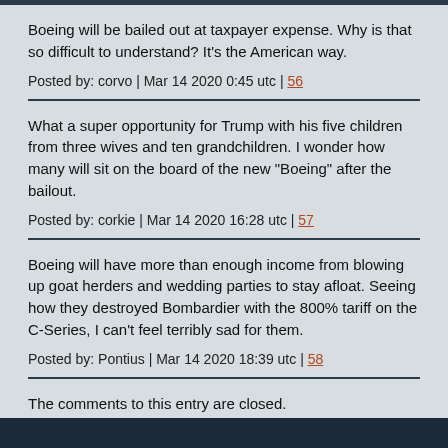Boeing will be bailed out at taxpayer expense. Why is that so difficult to understand? It's the American way.
Posted by: corvo | Mar 14 2020 0:45 utc | 56
What a super opportunity for Trump with his five children from three wives and ten grandchildren. I wonder how many will sit on the board of the new "Boeing" after the bailout.
Posted by: corkie | Mar 14 2020 16:28 utc | 57
Boeing will have more than enough income from blowing up goat herders and wedding parties to stay afloat. Seeing how they destroyed Bombardier with the 800% tariff on the C-Series, I can't feel terribly sad for them.
Posted by: Pontius | Mar 14 2020 18:39 utc | 58
The comments to this entry are closed.